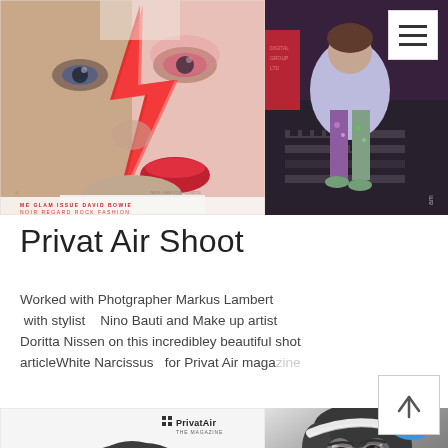[Figure (photo): Magazine cover showing a face split in two halves: left half is a natural male face, right half is dramatic glam makeup inspired by David Bowie's Aladdin Sane look with red lightning bolt. Text at bottom reads: ME GLAM ISSUE DAVID BOWIE, NOIR REGARD ROCK FASHION.]
[Figure (photo): Photo of a person wearing colorful patterned leggings/pants sitting on steps in what appears to be a nightclub or venue setting with red and purple lighting. A hamburger/menu icon (three horizontal lines) in a white box is overlaid at the top right.]
Privat Air Shoot
Worked with Photgrapher Markus Lambert  with stylist   Nino Bauti and Make up artist Doritta Nissen on this incredibley beautiful shot articleWhite Narcissus  for Privat Air magazine
[Figure (photo): PrivatAir magazine cover showing a black and white tree (White Narcissus article). PrivatAir logo with grid of dots at top right. Magazine title: PrivatAir THE MAGAZINE.]
[Figure (photo): Black and white close-up portrait of a man looking slightly to the side. Monochrome editorial style.]